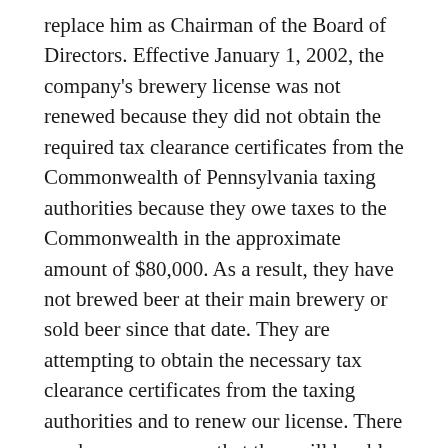replace him as Chairman of the Board of Directors. Effective January 1, 2002, the company's brewery license was not renewed because they did not obtain the required tax clearance certificates from the Commonwealth of Pennsylvania taxing authorities because they owe taxes to the Commonwealth in the approximate amount of $80,000. As a result, they have not brewed beer at their main brewery or sold beer since that date. They are attempting to obtain the necessary tax clearance certificates from the taxing authorities and to renew our license. There can be no assurance that they will be able to do so, in which event they will not be able to brew beer at our main brewery or to sell beer. Notwithstanding the foregoing, their subsidiary, Red Bell Brewery & Pub Company, maintains a current brewery and restaurant license with the right to brew and sell beer at the micro